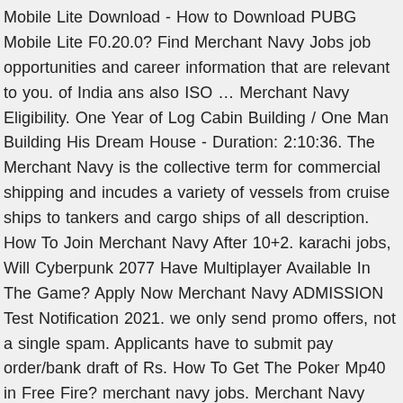Mobile Lite Download - How to Download PUBG Mobile Lite F0.20.0? Find Merchant Navy Jobs job opportunities and career information that are relevant to you. of India ans also ISO … Merchant Navy Eligibility. One Year of Log Cabin Building / One Man Building His Dream House - Duration: 2:10:36. The Merchant Navy is the collective term for commercial shipping and incudes a variety of vessels from cruise ships to tankers and cargo ships of all description. How To Join Merchant Navy After 10+2. karachi jobs, Will Cyberpunk 2077 Have Multiplayer Available In The Game? Apply Now Merchant Navy ADMISSION Test Notification 2021. we only send promo offers, not a single spam. Applicants have to submit pay order/bank draft of Rs. How To Get The Poker Mp40 in Free Fire? merchant navy jobs. Merchant Navy